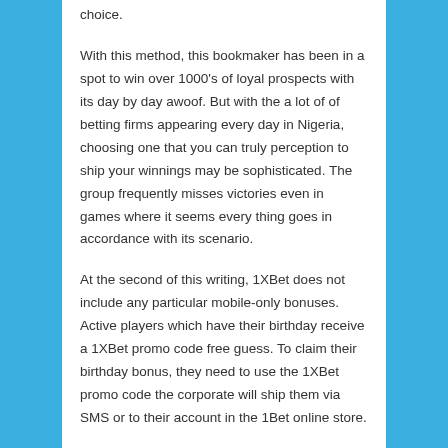choice.
With this method, this bookmaker has been in a spot to win over 1000's of loyal prospects with its day by day awoof. But with the a lot of of betting firms appearing every day in Nigeria, choosing one that you can truly perception to ship your winnings may be sophisticated. The group frequently misses victories even in games where it seems every thing goes in accordance with its scenario.
At the second of this writing, 1XBet does not include any particular mobile-only bonuses. Active players which have their birthday receive a 1XBet promo code free guess. To claim their birthday bonus, they need to use the 1XBet promo code the corporate will ship them via SMS or to their account in the 1Bet online store.